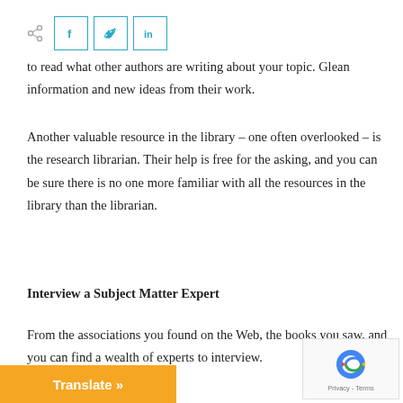[Figure (other): Social share bar with share icon and Facebook, Twitter, LinkedIn buttons]
to read what other authors are writing about your topic. Glean information and new ideas from their work.
Another valuable resource in the library – one often overlooked – is the research librarian. Their help is free for the asking, and you can be sure there is no one more familiar with all the resources in the library than the librarian.
Interview a Subject Matter Expert
From the associations you found on the Web, the books you saw, and you can find a wealth of experts to interview.